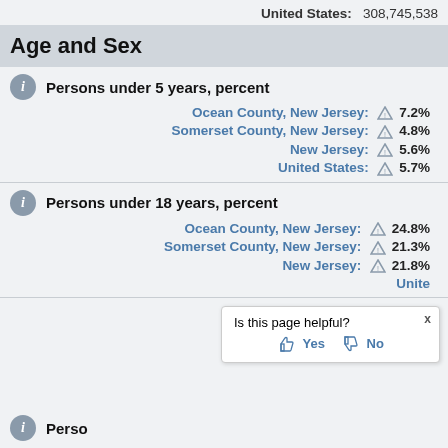United States: 308,745,538
Age and Sex
Persons under 5 years, percent
| Geography | Value |
| --- | --- |
| Ocean County, New Jersey: | 7.2% |
| Somerset County, New Jersey: | 4.8% |
| New Jersey: | 5.6% |
| United States: | 5.7% |
Persons under 18 years, percent
| Geography | Value |
| --- | --- |
| Ocean County, New Jersey: | 24.8% |
| Somerset County, New Jersey: | 21.3% |
| New Jersey: | 21.8% |
| United States: | (partially visible) |